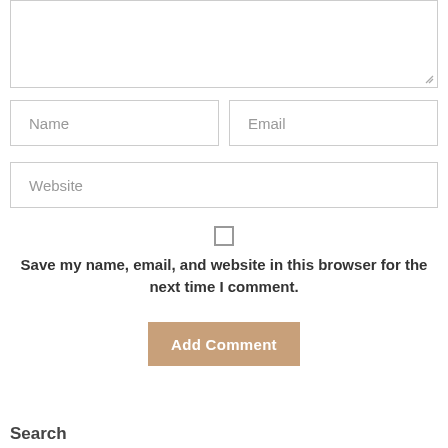[Figure (screenshot): A textarea input field (comment box) with a resize handle in the bottom-right corner]
Name
Email
Website
[Figure (other): Checkbox (unchecked)]
Save my name, email, and website in this browser for the next time I comment.
Add Comment
Search